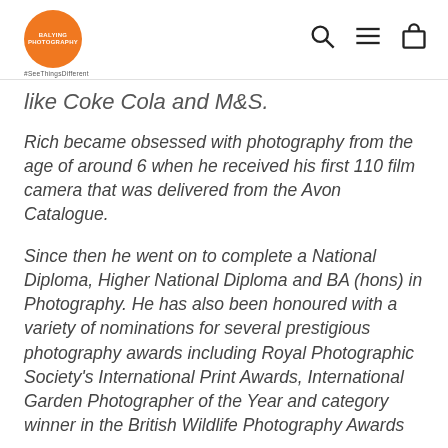Balying Photography #SeeThingsDifferent
like Coke Cola and M&S.
Rich became obsessed with photography from the age of around 6 when he received his first 110 film camera that was delivered from the Avon Catalogue.
Since then he went on to complete a National Diploma, Higher National Diploma and BA (hons) in Photography. He has also been honoured with a variety of nominations for several prestigious photography awards including Royal Photographic Society's International Print Awards, International Garden Photographer of the Year and category winner in the British Wildlife Photography Awards